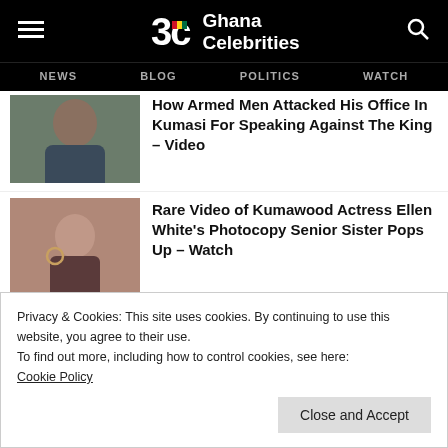Ghana Celebrities
NEWS  BLOG  POLITICS  WATCH
How Armed Men Attacked His Office In Kumasi For Speaking Against The King – Video
Rare Video of Kumawood Actress Ellen White's Photocopy Senior Sister Pops Up – Watch
Privacy & Cookies: This site uses cookies. By continuing to use this website, you agree to their use.
To find out more, including how to control cookies, see here:
Cookie Policy
Close and Accept